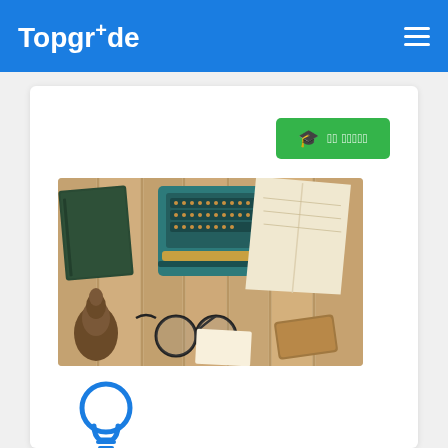TopgrAde
[Figure (screenshot): Green button with graduation cap icon and garbled/encoded text (possibly Chinese/Japanese characters)]
[Figure (photo): Overhead flat-lay photo of a wooden desk surface with a vintage teal typewriter, dark green book, open notebook, glasses, pine cone, and brown card holder]
[Figure (illustration): Blue lightbulb icon]
Pro Dumps